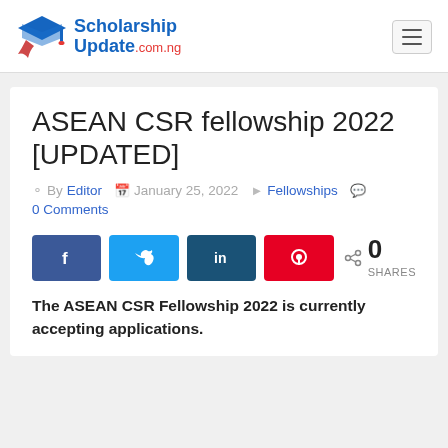ScholarshipUpdate.com.ng
ASEAN CSR fellowship 2022 [UPDATED]
By Editor  January 25, 2022  Fellowships  0 Comments
[Figure (infographic): Social share buttons: Facebook, Twitter, LinkedIn, Pinterest; 0 SHARES]
The ASEAN CSR Fellowship 2022 is currently accepting applications.